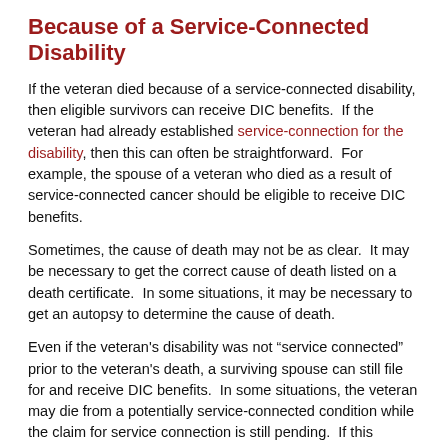Because of a Service-Connected Disability
If the veteran died because of a service-connected disability, then eligible survivors can receive DIC benefits.  If the veteran had already established service-connection for the disability, then this can often be straightforward.  For example, the spouse of a veteran who died as a result of service-connected cancer should be eligible to receive DIC benefits.
Sometimes, the cause of death may not be as clear.  It may be necessary to get the correct cause of death listed on a death certificate.  In some situations, it may be necessary to get an autopsy to determine the cause of death.
Even if the veteran's disability was not "service connected" prior to the veteran's death, a surviving spouse can still file for and receive DIC benefits.  In some situations, the veteran may die from a potentially service-connected condition while the claim for service connection is still pending.  If this happens, the eligible survivor will want to consider substituting for the